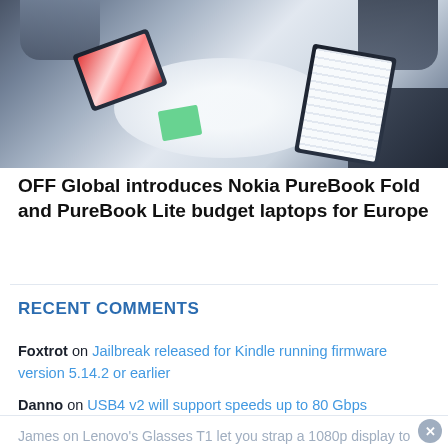[Figure (photo): Overhead view of three people gathered around a round white table, using tablets and devices. One tablet shows colorful app icons/content, another shows a document with lines of text. A green notebook is on the table.]
OFF Global introduces Nokia PureBook Fold and PureBook Lite budget laptops for Europe
RECENT COMMENTS
Foxtrot on Jailbreak released for Kindle running firmware version 5.14.2 or earlier
Danno on USB4 v2 will support speeds up to 80 Gbps
James on Lenovo's Glasses T1 let you strap a 1080p display to your face